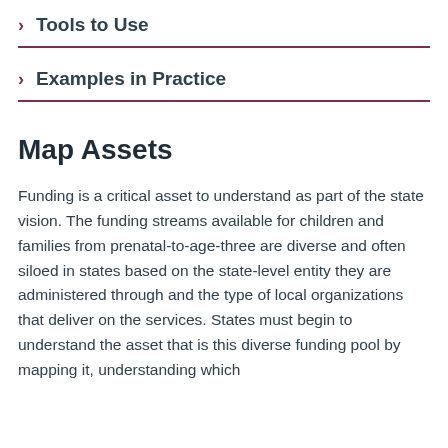> Tools to Use
> Examples in Practice
Map Assets
Funding is a critical asset to understand as part of the state vision. The funding streams available for children and families from prenatal-to-age-three are diverse and often siloed in states based on the state-level entity they are administered through and the type of local organizations that deliver on the services. States must begin to understand the asset that is this diverse funding pool by mapping it, understanding which